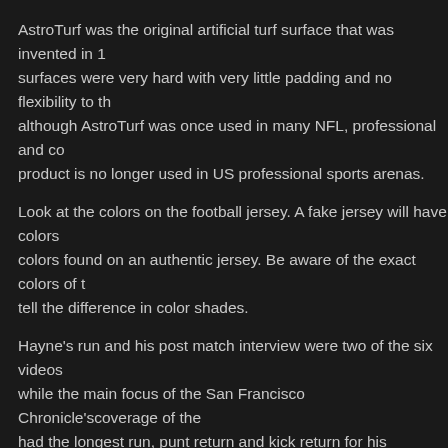AstroTurf was the original artificial turf surface that was invented in 1... surfaces were very hard with very little padding and no flexibility to th... although AstroTurf was once used in many NFL, professional and co... product is no longer used in US professional sports arenas.
Look at the colors on the football jersey. A fake jersey will have colors... colors found on an authentic jersey. Be aware of the exact colors of t... tell the difference in color shades.
Hayne's run and his post match interview were two of the six videos... while the main focus of the San Francisco Chronicle'scoverage of the... had the longest run, punt return and kick return for his team,including... awesome".
Around the same time, a curator at the Smithsonian reportedly asked... received a sizeable donation to create an exhibit on the ancient worl... there." The historians immediately set to work, hastily falsifying evide... own poets and philosophers, gods and heroes eventually become th... educations, and the entire field of the humanities. "Have you ever se... abandoned gravel pit infested with cats."